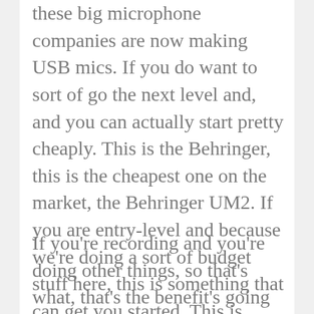these big microphone companies are now making USB mics. If you do want to sort of go the next level and, and you can actually start pretty cheaply. This is the Behringer, this is the cheapest one on the market, the Behringer UM2. If you are entry-level and because we're doing a sort of budget stuff here, this is something that can get you started. This is probably better if you're a musician, because you've got a microphone, but you can also plug your instrument.
If you're recording and you're doing other things, so that's what, that's the benefit's going to be there. And you can